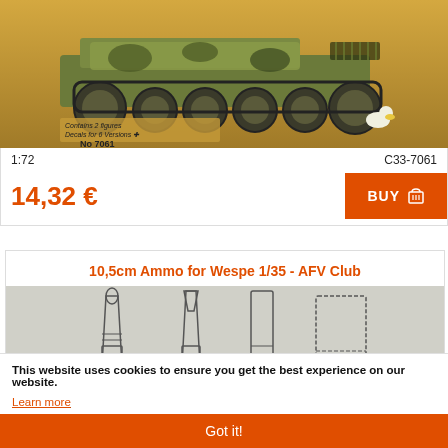[Figure (photo): Photo of a 1:72 scale model tank kit box art, showing a camouflaged self-propelled gun with number 7061 on box]
1:72
C33-7061
14,32 €
BUY
10,5cm Ammo for Wespe 1/35 - AFV Club
[Figure (illustration): Technical illustration of 10.5cm ammunition types: Pzgr, Hl, Hl/A-B-C, Cartridge for Wespe 1/35 AFV Club model kit]
This website uses cookies to ensure you get the best experience on our website.
Learn more
Got it!